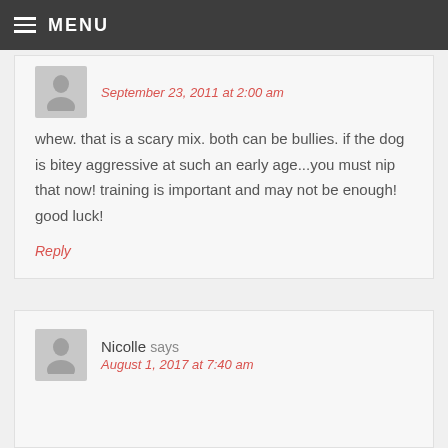MENU
September 23, 2011 at 2:00 am
whew. that is a scary mix. both can be bullies. if the dog is bitey aggressive at such an early age...you must nip that now! training is important and may not be enough! good luck!
Reply
Nicolle says
August 1, 2017 at 7:40 am